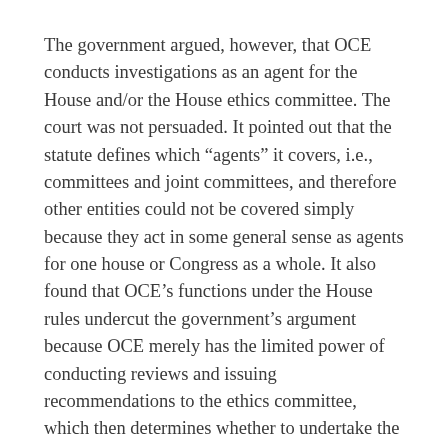The government argued, however, that OCE conducts investigations as an agent for the House and/or the House ethics committee. The court was not persuaded. It pointed out that the statute defines which “agents” it covers, i.e., committees and joint committees, and therefore other entities could not be covered simply because they act in some general sense as agents for one house or Congress as a whole. It also found that OCE’s functions under the House rules undercut the government’s argument because OCE merely has the limited power of conducting reviews and issuing recommendations to the ethics committee, which then determines whether to undertake the actual “investigation.”
Accordingly, the D.C. Circuit found the obstruction statute inapplicable to OCE’s inquiry and affirmed the